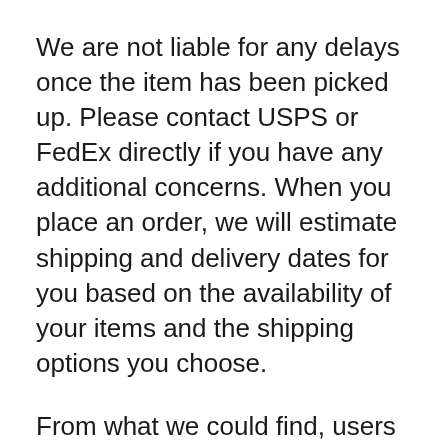We are not liable for any delays once the item has been picked up. Please contact USPS or FedEx directly if you have any additional concerns. When you place an order, we will estimate shipping and delivery dates for you based on the availability of your items and the shipping options you choose.
From what we could find, users agree the effect of the cartridges they tried reflects the description of each product accurately. The buds Exhale Wellness has for sale come in volumes ranging from 4g jars to 1lb bags. Delta-8 THC has psychoactive and intoxicating effects, similar to delta-9 THC (i.e., the component responsible for the "high" you know cannabis has for you).